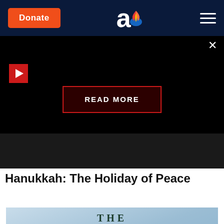Donate | [Aish logo] | Menu
[Figure (screenshot): Black video player overlay with red play button in top-left, X close button top-right, and a red-bordered 'READ MORE' button centered over the video area. Partial image visible at bottom.]
Hanukkah: The Holiday of Peace
[Figure (photo): Book or movie cover showing 'THE GOD Part 1' text in dark green letters over a cloudy blue-gray background.]